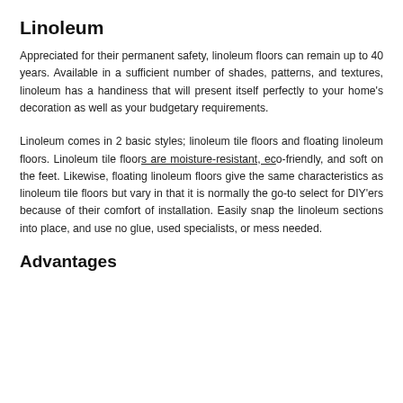Linoleum
Appreciated for their permanent safety, linoleum floors can remain up to 40 years. Available in a sufficient number of shades, patterns, and textures, linoleum has a handiness that will present itself perfectly to your home's decoration as well as your budgetary requirements.
Linoleum comes in 2 basic styles; linoleum tile floors and floating linoleum floors. Linoleum tile floors are moisture-resistant, eco-friendly, and soft on the feet. Likewise, floating linoleum floors give the same characteristics as linoleum tile floors but vary in that it is normally the go-to select for DIY'ers because of their comfort of installation. Easily snap the linoleum sections into place, and use no glue, used specialists, or mess needed.
Advantages